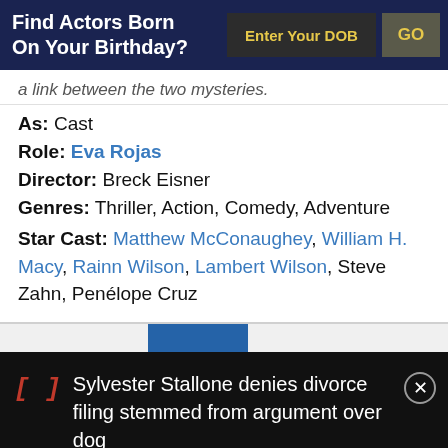Find Actors Born On Your Birthday?
a link between the two mysteries.
As: Cast
Role: Eva Rojas
Director: Breck Eisner
Genres: Thriller, Action, Comedy, Adventure
Star Cast: Matthew McConaughey, William H. Macy, Rainn Wilson, Lambert Wilson, Steve Zahn, Penélope Cruz
Sylvester Stallone denies divorce filing stemmed from argument over dog